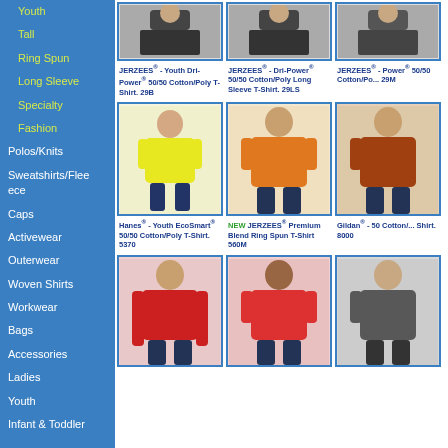Youth
Tall
Ring Spun
Long Sleeve
Specialty
Fashion
Polos/Knits
Sweatshirts/Fleece
Caps
Activewear
Outerwear
Woven Shirts
Workwear
Bags
Accessories
Ladies
Youth
Infant & Toddler
[Figure (photo): JERZEES Youth Dri-Power 50/50 Cotton/Poly T-Shirt 29B - model wearing dark shirt]
JERZEES® - Youth Dri-Power® 50/50 Cotton/Poly T-Shirt. 29B
[Figure (photo): JERZEES Dri-Power 50/50 Cotton/Poly Long Sleeve T-Shirt 29LS - model wearing dark shirt]
JERZEES® - Dri-Power® 50/50 Cotton/Poly Long Sleeve T-Shirt. 29LS
[Figure (photo): JERZEES 50/50 Cotton/Poly T-Shirt 29M - partial image]
JERZEES® - Power® 50/50 Cotton/Po... 29M
[Figure (photo): Hanes Youth EcoSmart 50/50 Cotton/Poly T-Shirt 5370 - child wearing yellow shirt]
Hanes® - Youth EcoSmart® 50/50 Cotton/Poly T-Shirt. 5370
[Figure (photo): JERZEES Premium Blend Ring Spun T-Shirt 560M - man wearing orange shirt]
NEW JERZEES® Premium Blend Ring Spun T-Shirt 560M
[Figure (photo): Gildan 50 Cotton T-Shirt 8000 - partial image of man in rust shirt]
Gildan® - 50 Cotton/... Shirt. 8000
[Figure (photo): Man wearing red long sleeve shirt]
[Figure (photo): Man wearing red t-shirt]
[Figure (photo): Man wearing gray/dark shirt, partially visible]